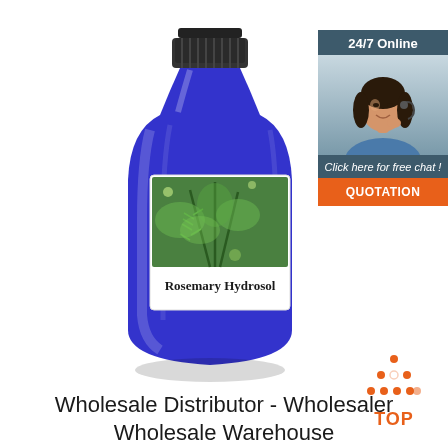[Figure (photo): Blue glass bottle of Rosemary Hydrosol with a black cap and a label showing rosemary plant and the text 'Rosemary Hydrosol']
[Figure (infographic): Customer service chat widget showing '24/7 Online', a female agent with headset, 'Click here for free chat!' text, and an orange QUOTATION button]
[Figure (other): Orange TOP icon with upward-pointing triangle made of dots above the word TOP in orange]
Wholesale Distributor - Wholesaler Wholesale Warehouse